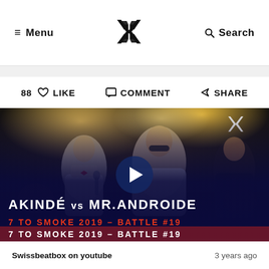Menu | Swissbeatbox logo | Search
88 ♡ LIKE   ☐ COMMENT   ▷ SHARE
[Figure (photo): Video thumbnail showing two beatboxers facing off on stage with dramatic lighting. Text overlay reads: AKINDÉ vs MR.ANDROIDE / 7 TO SMOKE 2019 – BATTLE #19. A play button is centered on the image.]
Swissbeatbox on youtube   3 years ago